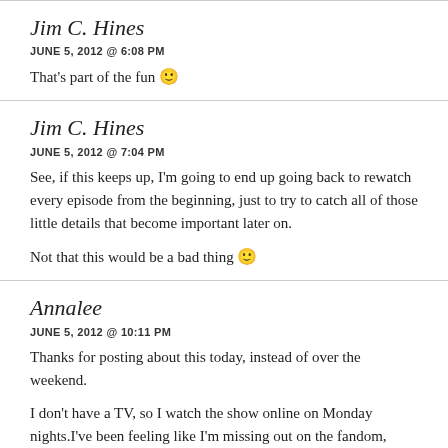Jim C. Hines
JUNE 5, 2012 @ 6:08 PM
That's part of the fun 🙂
Jim C. Hines
JUNE 5, 2012 @ 7:04 PM
See, if this keeps up, I'm going to end up going back to rewatch every episode from the beginning, just to try to catch all of those little details that become important later on.

Not that this would be a bad thing 🙂
Annalee
JUNE 5, 2012 @ 10:11 PM
Thanks for posting about this today, instead of over the weekend.

I don't have a TV, so I watch the show online on Monday nights. I've been feeling like I'm missing out on the fandom, because everyone seems to get all their fan-analysis out of their system over the weekend. It's really